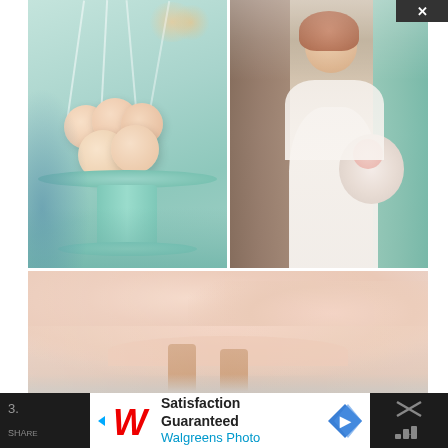[Figure (photo): Wedding inspiration collage: top-left shows peach cake pops on a mint green pedestal cake stand with teal background; top-right shows a smiling red-haired bride in a white strapless gown holding a floral bouquet, standing by a rustic door; bottom shows a flowing peach/blush dress from below with the wearer's legs and feet on a light ground.]
3.
[Figure (photo): Walgreens advertisement banner: Walgreens logo in red script on left, text 'Satisfaction Guaranteed' in bold and 'Walgreens Photo' in blue, with a blue arrow navigation icon on the right.]
[Figure (photo): Dark panel on right with X close icon and social/share icons in white.]